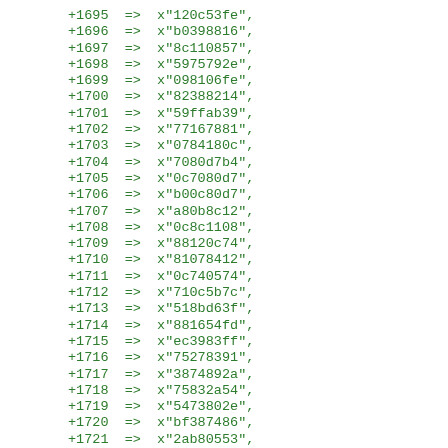+1695 => x"120c53fe",
+1696 => x"b0398816",
+1697 => x"8c110857",
+1698 => x"5975792e",
+1699 => x"098106fe",
+1700 => x"82388214",
+1701 => x"59ffab39",
+1702 => x"77167881",
+1703 => x"0784180c",
+1704 => x"7080d7b4",
+1705 => x"0c7080d7",
+1706 => x"b00c80d7",
+1707 => x"a80b8c12",
+1708 => x"0c8c1108",
+1709 => x"88120c74",
+1710 => x"81078412",
+1711 => x"0c740574",
+1712 => x"710c5b7c",
+1713 => x"518bd63f",
+1714 => x"881654fd",
+1715 => x"ec3983ff",
+1716 => x"75278391",
+1717 => x"3874892a",
+1718 => x"75832a54",
+1719 => x"5473802e",
+1720 => x"bf387486",
+1721 => x"2ab80553",
+1722 => x"847427b4",
+1723 => x"3880db14",
+1724 => x"53947427",